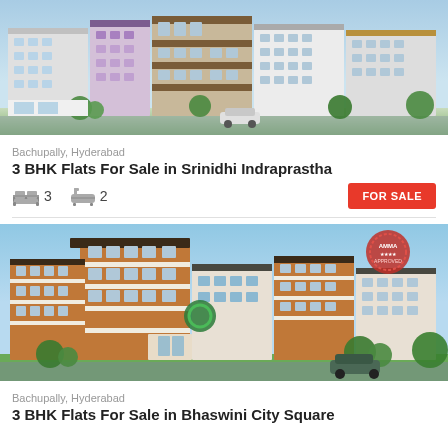[Figure (photo): Exterior rendering of a multi-story residential apartment complex with colorful facade, cars in foreground, trees and blue sky — Srinidhi Indraprastha]
Bachupally, Hyderabad
3 BHK Flats For Sale in Srinidhi Indraprastha
3 bedrooms  2 bathrooms  FOR SALE
[Figure (photo): Exterior rendering of a modern multi-story apartment building with brown and white facade, green trees, red stamp logo in upper right corner — Bhaswini City Square]
Bachupally, Hyderabad
3 BHK Flats For Sale in Bhaswini City Square